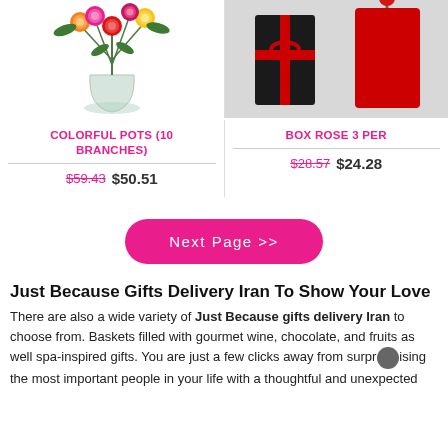[Figure (photo): Colorful roses in a glass vase (top portion of product photo)]
[Figure (photo): Black gift boxes with red ribbon bows, roses in red sleeve]
COLORFUL POTS (10 BRANCHES)
$59.43  $50.51
BOX ROSE 3 PER
$28.57  $24.28
Next Page >>
Just Because Gifts Delivery Iran To Show Your Love
There are also a wide variety of Just Because gifts delivery Iran to choose from. Baskets filled with gourmet wine, chocolate, and fruits as well spa-inspired gifts. You are just a few clicks away from surprising the most important people in your life with a thoughtful and unexpected